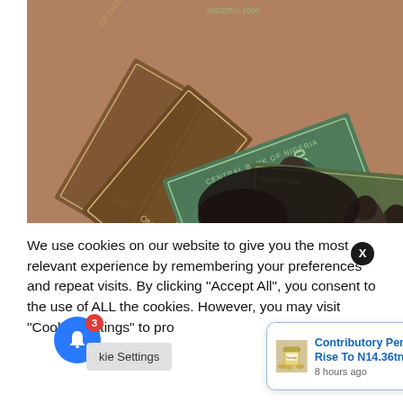[Figure (photo): A hand holding a fan of Nigerian Naira banknotes (1000 Naira notes), showing Central Bank of Nigeria currency fanned out prominently.]
We use cookies on our website to give you the most relevant experience by remembering your preferences and repeat visits. By clicking "Accept All", you consent to the use of ALL the cookies. However, you may visit "Cookie Settings" to pro
[Figure (photo): Small thumbnail image of a pension jar with coins next to an article notification popup titled 'Contributory Pension Assets Rise To N14.36tn', timestamped 8 hours ago.]